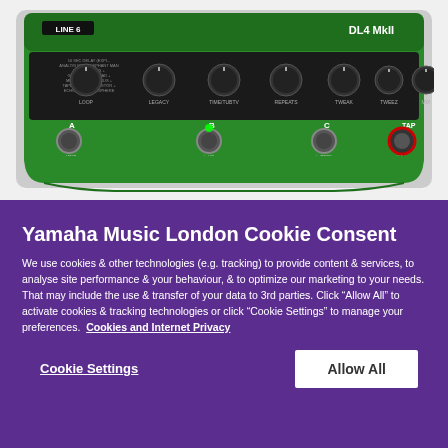[Figure (photo): Photo of a Line 6 DL4 MkII green guitar effects pedal with knobs labeled LOOP, LEGACY, TIME/TUBTV, REPEATS, TWEAK, TWEEZ, MIX and footswitches A, B, C, TAP with red LED on TAP button.]
Yamaha Music London Cookie Consent
We use cookies & other technologies (e.g. tracking) to provide content & services, to analyse site performance & your behaviour, & to optimize our marketing to your needs. That may include the use & transfer of your data to 3rd parties. Click "Allow All" to activate cookies & tracking technologies or click "Cookie Settings" to manage your preferences.  Cookies and Internet Privacy
Cookie Settings
Allow All